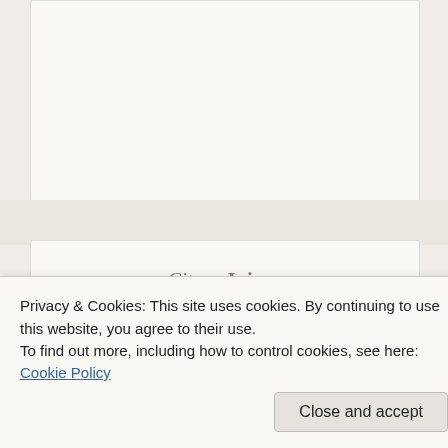[Figure (screenshot): Top white card area, partial background of a webpage]
Citrus Juicer
[Figure (logo): Amazon logo with orange arrow and partial product image of a citrus juicer]
Privacy & Cookies: This site uses cookies. By continuing to use this website, you agree to their use.
To find out more, including how to control cookies, see here: Cookie Policy
Close and accept